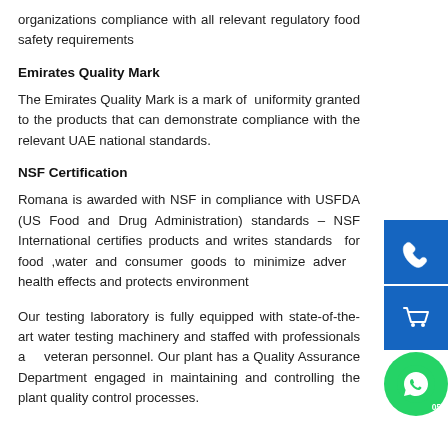organizations compliance with all relevant regulatory food safety requirements
Emirates Quality Mark
The Emirates Quality Mark is a mark of uniformity granted to the products that can demonstrate compliance with the relevant UAE national standards.
NSF Certification
Romana is awarded with NSF in compliance with USFDA (US Food and Drug Administration) standards – NSF International certifies products and writes standards for food ,water and consumer goods to minimize adverse health effects and protects environment
Our testing laboratory is fully equipped with state-of-the-art water testing machinery and staffed with professionals and veteran personnel. Our plant has a Quality Assurance Department engaged in maintaining and controlling the plant quality control processes.
[Figure (infographic): Three contact/action icons on right side: blue phone icon, blue shopping cart icon, and green WhatsApp icon with '052' text]